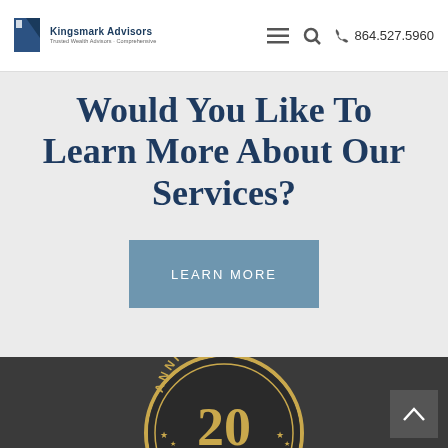Kingsmark Advisors | 864.527.5960
Would You Like To Learn More About Our Services?
LEARN MORE
[Figure (logo): 20th Anniversary badge/seal with gold text 'ANNIVERSARY' and '20' on dark background]